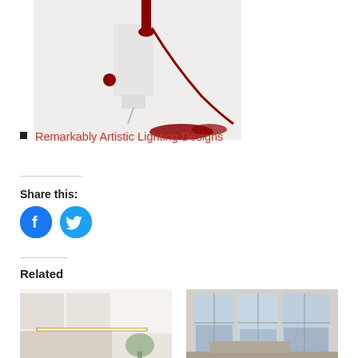[Figure (photo): Photo of artistic lighting design with red paint drips on a white background, featuring a white lamp with red liquid dripping from it and pooling on a surface]
Remarkably Artistic Lighting Designs
Share this:
[Figure (other): Facebook share icon - blue circle with white Facebook 'f' logo]
[Figure (other): Twitter share icon - blue circle with white Twitter bird logo]
Related
[Figure (photo): Interior design photo showing modern kitchen/room with linear LED lighting and gold accents]
[Figure (photo): Interior design photo showing modern living room with large windows and city view at dusk]